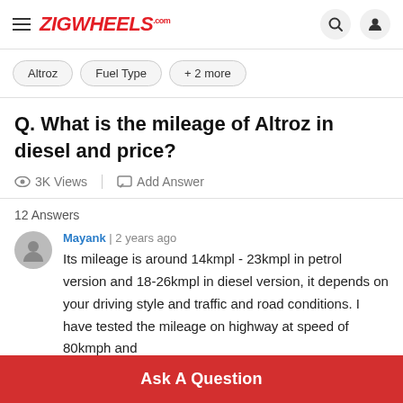ZIGWHEELS.com
Altroz
Fuel Type
+ 2 more
Q. What is the mileage of Altroz in diesel and price?
3K Views | Add Answer
12 Answers
Mayank | 2 years ago
Its mileage is around 14kmpl - 23kmpl in petrol version and 18-26kmpl in diesel version, it depends on your driving style and traffic and road conditions. I have tested the mileage on highway at speed of 80kmph and
Ask A Question